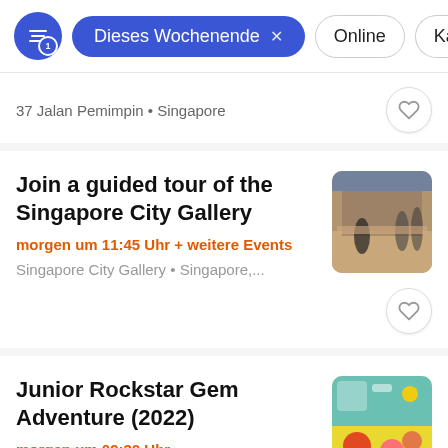Dieses Wochenende | Online | Kategor...
37 Jalan Pemimpin • Singapore
Join a guided tour of the Singapore City Gallery
morgen um 11:45 Uhr + weitere Events
Singapore City Gallery • Singapore,...
Junior Rockstar Gem Adventure (2022)
morgen um 09:30 Uhr
The Gem Museum • Singapore...